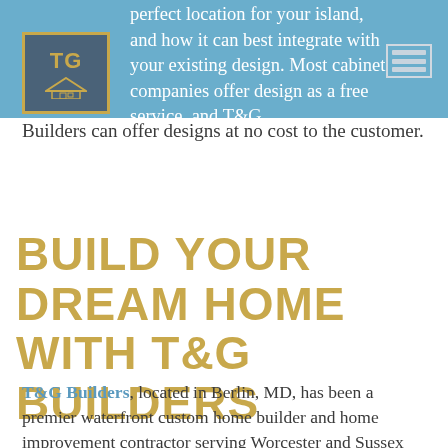perfect location for your island, and how it can best integrate with your existing design. Most cabinet companies offer design as a free service, and T&G Builders can offer designs at no cost to the customer.
BUILD YOUR DREAM HOME WITH T&G BUILDERS
T&G Builders, located in Berlin, MD, has been a premier waterfront custom home builder and home improvement contractor serving Worcester and Sussex Counties for over 25 years. We are a locally owned and operated business known for our uncompromising commitment to quality, our passion for using innovative technology and